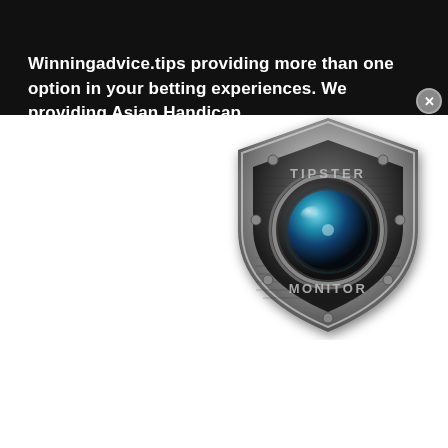Winningadvice.tips providing more than one option in your betting experiences. We providing Asian Handicap, Fixed odd betting and correct score betting tips based...
[Figure (logo): Tipster Monitor shield logo with camera lens in center, metallic design with dark carbon fiber texture, text TIPSTER on top and MONITOR on bottom]